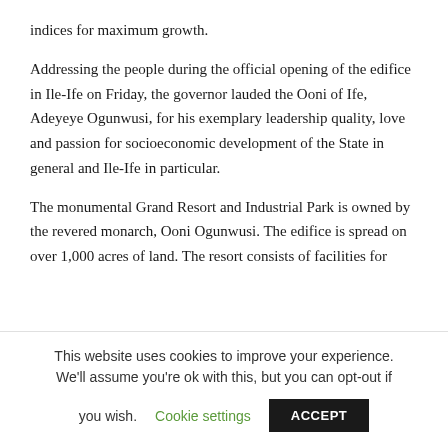indices for maximum growth.
Addressing the people during the official opening of the edifice in Ile-Ife on Friday, the governor lauded the Ooni of Ife, Adeyeye Ogunwusi, for his exemplary leadership quality, love and passion for socioeconomic development of the State in general and Ile-Ife in particular.
The monumental Grand Resort and Industrial Park is owned by the revered monarch, Ooni Ogunwusi. The edifice is spread on over 1,000 acres of land. The resort consists of facilities for
This website uses cookies to improve your experience. We'll assume you're ok with this, but you can opt-out if you wish. Cookie settings ACCEPT